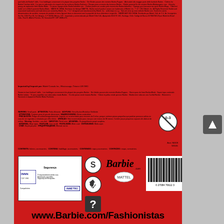Small print multilingual legal/manufacturer text on back of Barbie Fashionistas product packaging (red background)
Imported by/ Importé par: Mattel Canada Inc., Mississauga, Ontario L5R 3W2.
Games/play text in multiple languages about Barbie fashion games
WARNING: Small parts · ATTENTION: Petits éléments · ACHTUNG: Verschlucken Erstickun · ATTENZIONE: Contiene pezzi di piccole dimensioni · WAARSCHUWING: Kleine onderdelen · PRECAUCIÓN: Peligro de asfixia/atragantamiento...
Asst. N6328 W3181
CONTENTS: fabrics, accessories. · CONTENU: habillage, accessoires. · CONTENIDO: ropa y accesorios. · CONTEÚDO: roupa, acessórios.
[Figure (logo): INMETRO Segurança Compulsório certification badge with INNN logo]
[Figure (logo): S certification circle icon, recycling arrow circle icon, question mark square icon]
[Figure (logo): Barbie.com logo in cursive, Mattel logo]
[Figure (other): Barcode: 0 27084 70612 3]
www.Barbie.com/Fashionistas